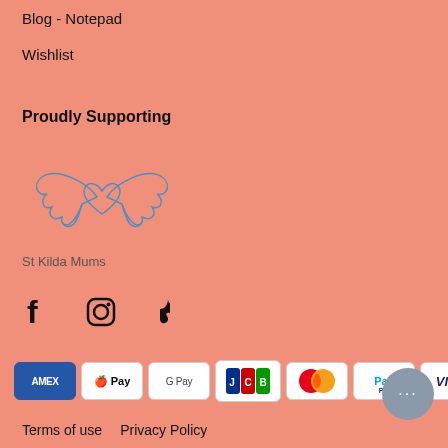Blog - Notepad
Wishlist
Proudly Supporting
[Figure (logo): St Kilda Mums logo — stylized angel wings with a heart, outlined in blue]
St Kilda Mums
[Figure (infographic): Social media icons: Facebook (f), Instagram (circle camera), TikTok (musical note)]
[Figure (infographic): Payment method badges: AMEX, Apple Pay, Google Pay, JCB, Mastercard, PayPal, VISA, Afterpay]
Terms of use   Privacy Policy